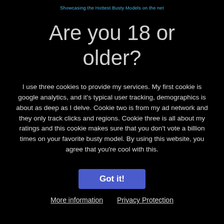Showcasing the Hottest Busty Models on the net
Are you 18 or older?
I use three cookies to provide my services. My first cookie is google analytics, and it's typical user tracking, demographics is about as deep as I delve. Cookie two is from my ad network and they only track clicks and regions. Cookie three is all about my ratings and this cookie makes sure that you don't vote a billion times on your favorite busty model. By using this website, you agree that you're cool with this.
Got it!
More information   Privacy Protection